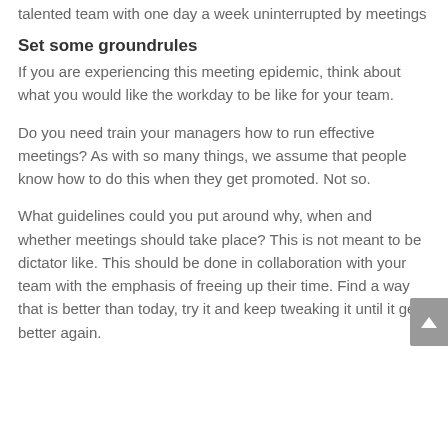talented team with one day a week uninterrupted by meetings
Set some groundrules
If you are experiencing this meeting epidemic, think about what you would like the workday to be like for your team.
Do you need train your managers how to run effective meetings? As with so many things, we assume that people know how to do this when they get promoted. Not so.
What guidelines could you put around why, when and whether meetings should take place? This is not meant to be dictator like. This should be done in collaboration with your team with the emphasis of freeing up their time. Find a way that is better than today, try it and keep tweaking it until it gets better again.